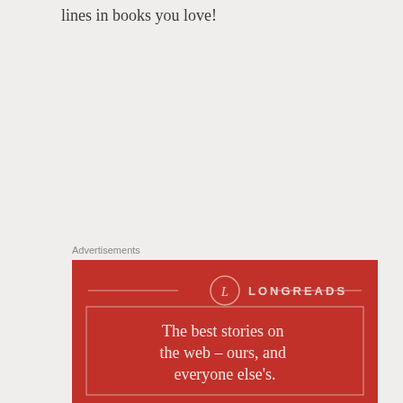lines in books you love!
Advertisements
[Figure (infographic): Longreads advertisement with red background, logo with circle 'L' and text 'LONGREADS', decorative lines on either side, inner bordered box with tagline: 'The best stories on the web – ours, and everyone else's.']